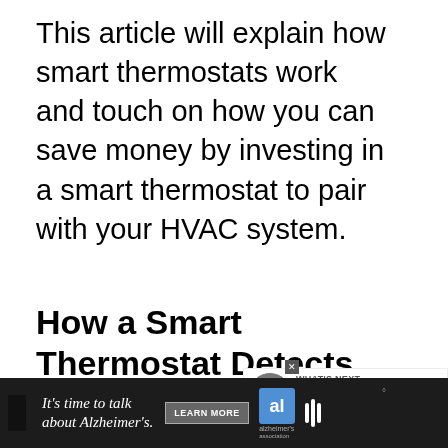This article will explain how smart thermostats work and touch on how you can save money by investing in a smart thermostat to pair with your HVAC system.
[Figure (other): Horizontal divider line with a blue circular like/heart button on the right end, and a share button below it, with count '2' shown]
How a Smart Thermostat Detects Room Occupanc
[Figure (other): What's Next widget with thumbnail image and text 'WHAT'S NEXT → Can Smart Thermostats...']
[Figure (other): Dark advertisement banner at bottom: "It's time to talk about Alzheimer's." with LEARN MORE button and Alzheimer's Association logo]